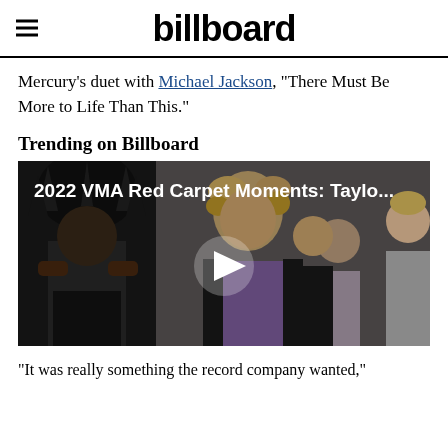billboard
Mercury's duet with Michael Jackson, “There Must Be More to Life Than This.”
Trending on Billboard
[Figure (screenshot): Video thumbnail showing 2022 VMA Red Carpet Moments with celebrities including a performer with a dramatic headdress, a man in a purple shirt, a couple, and Taylor Swift. A play button is centered over the image. Title text reads: 2022 VMA Red Carpet Moments: Taylo...]
“It was really something the record company wanted,”